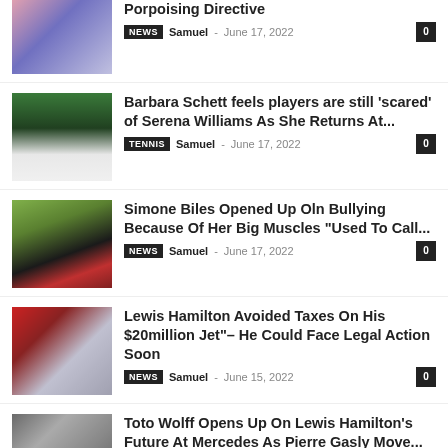[Figure (photo): Two people, pink/purple background, partial view at top]
Porpoising Directive
NEWS  Samuel - June 17, 2022  0
[Figure (photo): Tennis player in white dress on grass court with crowd]
Barbara Schett feels players are still 'scared' of Serena Williams As She Returns At...
TENNIS  Samuel - June 17, 2022  0
[Figure (photo): Simone Biles in red leotard in front of Olympic rings]
Simone Biles Opened Up Oln Bullying Because Of Her Big Muscles "Used To Call...
NEWS  Samuel - June 17, 2022  0
[Figure (photo): Red private jet on tarmac]
Lewis Hamilton Avoided Taxes On His $20million Jet"– He Could Face Legal Action Soon
NEWS  Samuel - June 15, 2022  0
[Figure (photo): Two men's faces, Toto Wolff and Pierre Gasly]
Toto Wolff Opens Up On Lewis Hamilton's Future At Mercedes As Pierre Gasly Move...